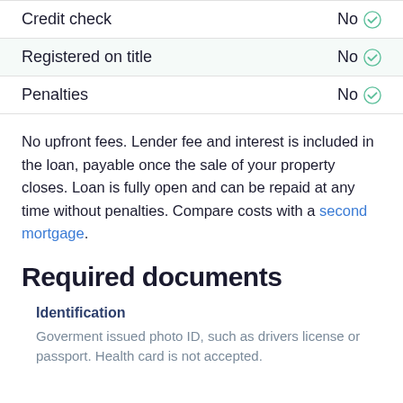|  |  |
| --- | --- |
| Credit check | No ✓ |
| Registered on title | No ✓ |
| Penalties | No ✓ |
No upfront fees. Lender fee and interest is included in the loan, payable once the sale of your property closes. Loan is fully open and can be repaid at any time without penalties. Compare costs with a second mortgage.
Required documents
Identification
Goverment issued photo ID, such as drivers license or passport. Health card is not accepted.